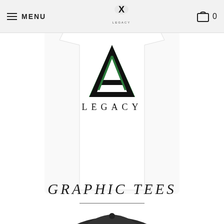MENU | X LEGACY logo | 0 (cart)
[Figure (photo): White graphic t-shirt with Legacy brand logo — a collegiate-style 'A' letter in black and green with the word LEGACY beneath it]
GRAPHIC TEES
[Figure (photo): Dark grey/black snapback cap with red graphic on the brim, shown from rear angle, slightly out of focus at bottom of page]